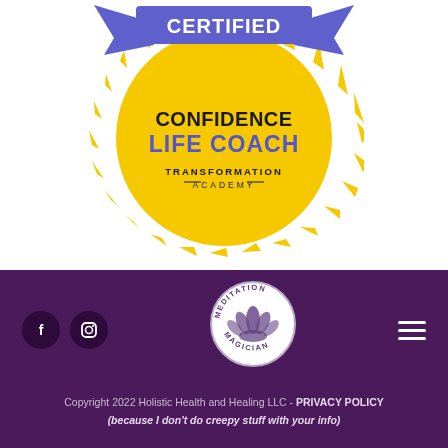[Figure (logo): Certified Confidence Life Coach Transformation Academy badge/seal — circular gold sunburst seal with blue banner reading CERTIFIED at top, black bold text CONFIDENCE, blue bold text LIFE COACH, and smaller text TRANSFORMATION ACADEMY below]
[Figure (logo): Meditation Magician circular logo — white circle with purple/grey border, lotus flower illustration inside, text MEDITATION MAGICIAN around the circle]
Copyright 2022 Holistic Health and Healing LLC - PRIVACY POLICY (because I don't do creepy stuff with your info)